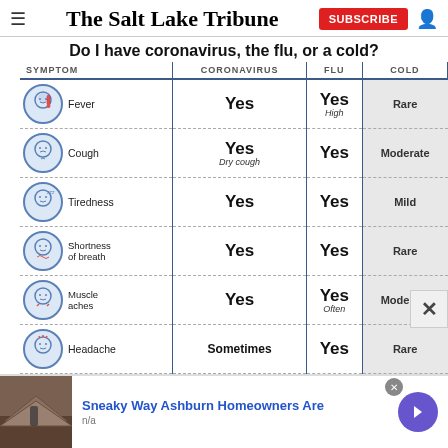The Salt Lake Tribune
Do I have coronavirus, the flu, or a cold?
| SYMPTOM | CORONAVIRUS | FLU | COLD |
| --- | --- | --- | --- |
| Fever | Yes | Yes High | Rare |
| Cough | Yes Dry cough | Yes | Moderate |
| Tiredness | Yes | Yes | Mild |
| Shortness of breath | Yes | Yes | Rare |
| Muscle aches | Yes | Yes Often | Moderate |
| Headache | Sometimes | Yes | Rare |
[Figure (infographic): Ad banner: Sneaky Way Ashburn Homeowners Are, n/a, with roofing image and arrow button]